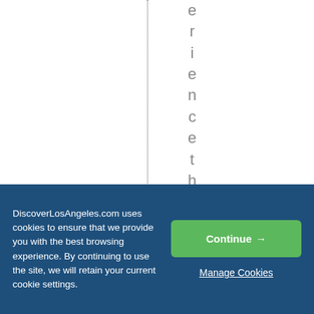[Figure (screenshot): A webpage screenshot showing vertical text reading 'experiencethebestfo' (partial, letters stacked vertically) on a white background with a dotted vertical divider line on the left side of the text.]
DiscoverLosAngeles.com uses cookies to ensure that we provide you with the best browsing experience. By continuing to use the site, we will retain your current cookie settings.
Continue →
Manage Cookies